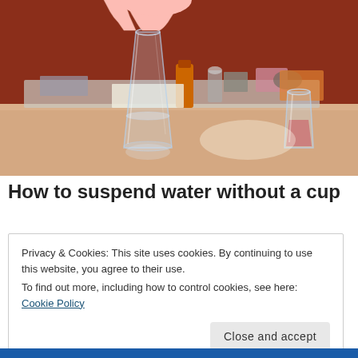[Figure (photo): Photo of a hand reaching toward a tall glass on a table, with a shorter glass and various items in the background. Reddish-brown wall behind, peach/tan table surface.]
How to suspend water without a cup
Privacy & Cookies: This site uses cookies. By continuing to use this website, you agree to their use.
To find out more, including how to control cookies, see here: Cookie Policy
Close and accept